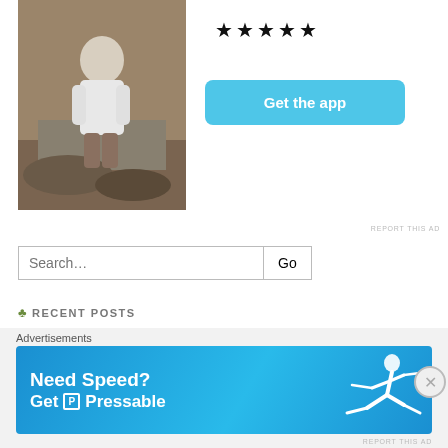[Figure (photo): Photo of a person in a white t-shirt crouching on rocks, viewed from behind]
★★★★★
Get the app
REPORT THIS AD
Search...
RECENT POSTS
International Women's Day: Women of India
Happy birthday Tikau
Around the world in six World Cup nations
The archery lottery in Meghalaya, India
Six images: On target for a lucky break
RECENT COMMENTS
Rudolf Shaw on When Santa's
Advertisements
[Figure (infographic): Pressable advertisement banner: Need Speed? Get Pressable on blue background with running figure]
REPORT THIS AD